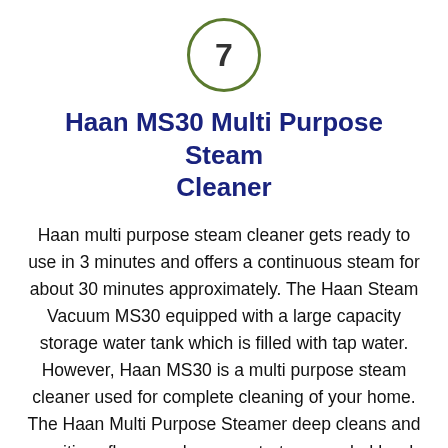7
Haan MS30 Multi Purpose Steam Cleaner
Haan multi purpose steam cleaner gets ready to use in 3 minutes and offers a continuous steam for about 30 minutes approximately. The Haan Steam Vacuum MS30 equipped with a large capacity storage water tank which is filled with tap water. However, Haan MS30 is a multi purpose steam cleaner used for complete cleaning of your home. The Haan Multi Purpose Steamer deep cleans and sanitizes floors such as countertops, sealed hard floor surfaces, etc.